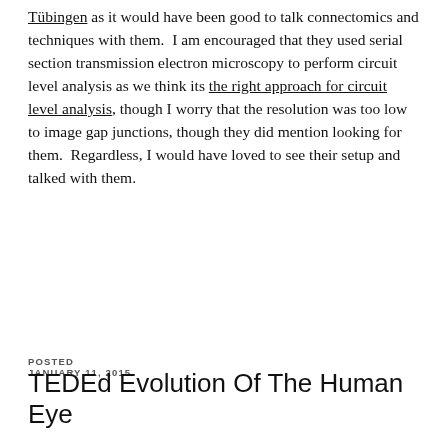Tübingen as it would have been good to talk connectomics and techniques with them. I am encouraged that they used serial section transmission electron microscopy to perform circuit level analysis as we think its the right approach for circuit level analysis, though I worry that the resolution was too low to image gap junctions, though they did mention looking for them. Regardless, I would have loved to see their setup and talked with them.
POSTED
JANUARY 11, 2015
TEDEd Evolution Of The Human Eye